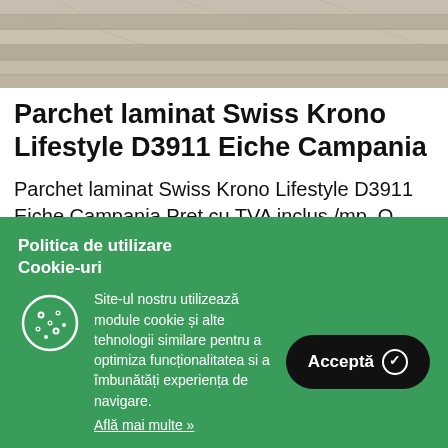[Figure (photo): Close-up photo of grey/beige laminate wood flooring planks]
Parchet laminat Swiss Krono Lifestyle D3911 Eiche Campania
Parchet laminat Swiss Krono Lifestyle D3911 Eiche Campania Pret cu TVA inclus /mp. O cutie contine 1,864 mp  Transport in orice
Politica de utilizare Cookie-uri
Site-ul nostru utilizează module cookie și alte tehnologii similare pentru a optimiza funcționalitatea si a îmbunătăți experiența de navigare.
Află mai multe »